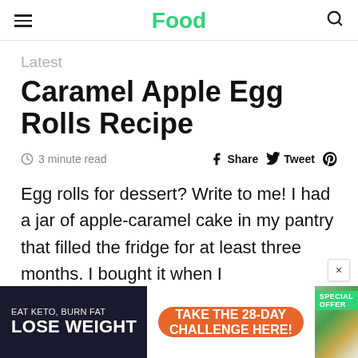Food
Latest
Caramel Apple Egg Rolls Recipe
3 minute read  Share  Tweet
Egg rolls for dessert? Write to me! I had a jar of apple-caramel cake in my pantry that filled the fridge for at least three months. I bought it when I
[Figure (other): Advertisement banner: EAT KETO, BURN FAT / LOSE WEIGHT with TAKE THE 28-DAY CHALLENGE HERE! button and a SPECIAL OFFER badge with food image]